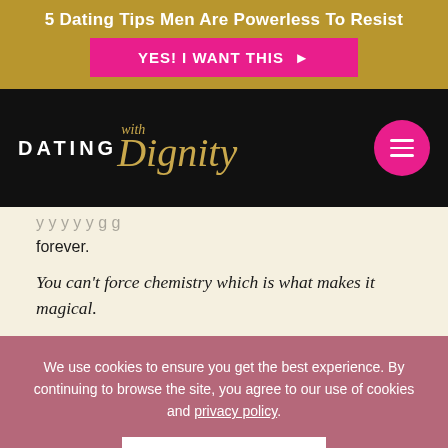5 Dating Tips Men Are Powerless To Resist
YES! I WANT THIS ▶
[Figure (logo): Dating with Dignity logo in white and gold on black background with pink hamburger menu circle button]
forever.
You can't force chemistry which is what makes it magical.
We use cookies to ensure you get the best experience. By continuing to browse the site, you agree to our use of cookies and privacy policy.
OK